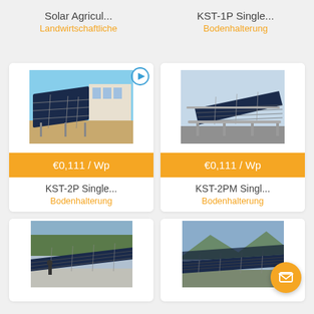Solar Agricul...
Landwirtschaftliche
KST-1P Single...
Bodenhalterung
[Figure (photo): Solar panel installation photo with play icon overlay]
€0,111 / Wp
KST-2P Single...
Bodenhalterung
[Figure (photo): Solar panel ground mount system photo]
€0,111 / Wp
KST-2PM Singl...
Bodenhalterung
[Figure (photo): Solar panels on ground at facility]
[Figure (photo): Large solar field photo]